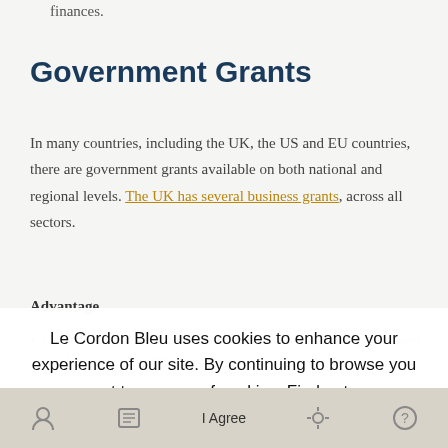finances.
Government Grants
In many countries, including the UK, the US and EU countries, there are government grants available on both national and regional levels. The UK has several business grants, across all sectors.
Advantage
Low or no repayments: this is money provided by your government, funded by your taxes. This means that
Le Cordon Bleu uses cookies to enhance your experience of our site. By continuing to browse you consent to our use of cookies. Find out more
I Agree